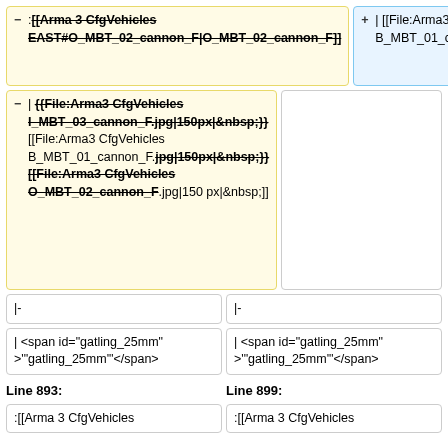- :[[Arma 3 CfgVehicles EAST#O_MBT_02_cannon_F|O_MBT_02_cannon_F]]
+ | [[File:Arma3 CfgVehicles B_MBT_01_cannon_F.jpg|150px|&nbsp;]]
- | {{File:Arma3 CfgVehicles I_MBT_03_cannon_F.jpg|150px|&nbsp;}}[[File:Arma3 CfgVehicles B_MBT_01_cannon_F.jpg|150px|&nbsp;]][[File:Arma3 CfgVehicles O_MBT_02_cannon_F.jpg|150px|&nbsp;]]
|- (left)
|- (right)
| <span id="gatling_25mm" >"'gatling_25mm'"</span> (left)
| <span id="gatling_25mm" >"'gatling_25mm'"</span> (right)
Line 893:
Line 899:
:[[Arma 3 CfgVehicles (bottom left)
:[[Arma 3 CfgVehicles (bottom right)